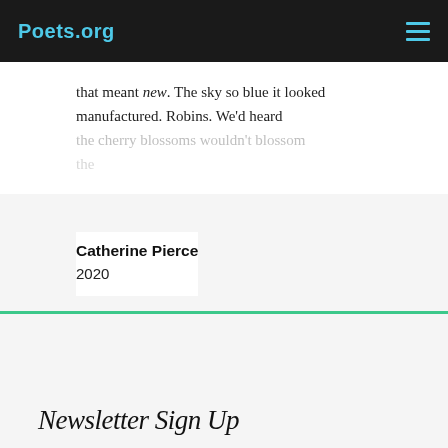Poets.org
that meant new. The sky so blue it looked manufactured. Robins. We'd heard the cherry blossoms wouldn't blossom
Catherine Pierce
2020
Newsletter Sign Up